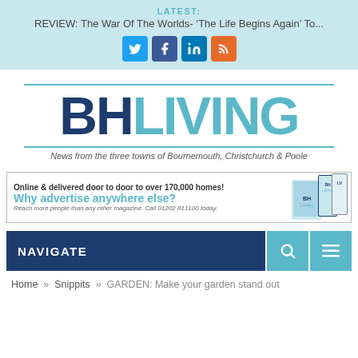LATEST:
REVIEW: The War Of The Worlds- ‘The Life Begins Again’ To...
[Figure (other): Social media icons: Twitter (blue), Facebook (dark blue), LinkedIn (dark blue), RSS (orange)]
[Figure (logo): BH LIVING logo with tagline: News from the three towns of Bournemouth, Christchurch & Poole]
[Figure (other): Advertisement banner: Online & delivered door to door to over 170,000 homes! Why advertise anywhere else? Reach more people than any other magazine. Call 01202 811100 today.]
NAVIGATE
Home » Snippits » GARDEN: Make your garden stand out